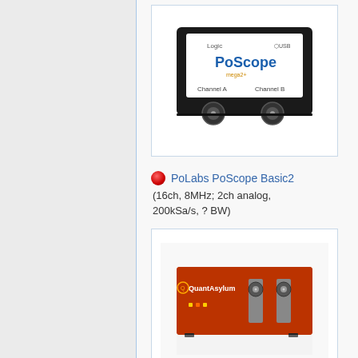[Figure (photo): Photo of PoLabs PoScope Basic2 device — black rectangular oscilloscope with white label showing 'PoScope' branding, Channel A and Channel B BNC connectors, USB connector]
PoLabs PoScope Basic2 (16ch, 8MHz; 2ch analog, 200kSa/s, ? BW)
[Figure (photo): Photo of QuantAsylum QA100 device — red rectangular unit with BNC connectors on the front panel]
QuantAsylum QA100 (12ch; 2ch analog)